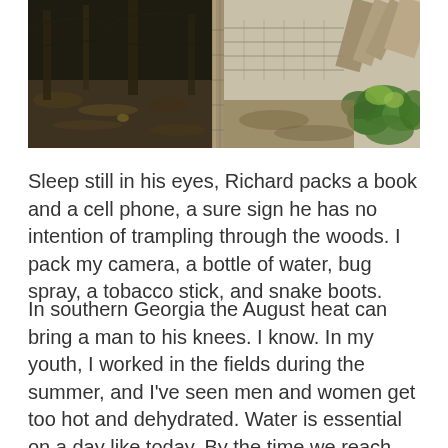[Figure (photo): Two-panel photograph showing a wooded forest floor scene on the left (dark, with leaf litter and sparse undergrowth) and a fence post with wire fencing and green leafy vines on the right. A weathered wooden post is prominently visible in the center dividing the two panels.]
Sleep still in his eyes, Richard packs a book and a cell phone, a sure sign he has no intention of trampling through the woods. I pack my camera, a bottle of water, bug spray, a tobacco stick, and snake boots.
In southern Georgia the August heat can bring a man to his knees. I know. In my youth, I worked in the fields during the summer, and I’ve seen men and women get too hot and dehydrated. Water is essential on a day like today. By the time we reach the truck, sweat is popping out around my face and neck.